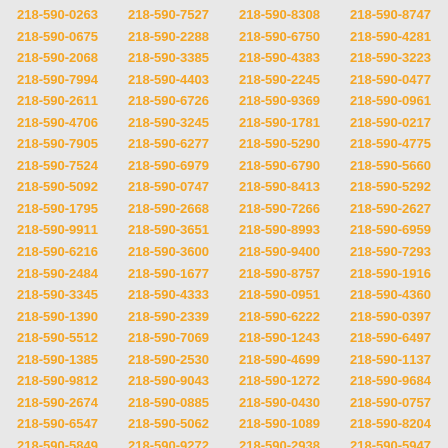218-590-0263 218-590-7527 218-590-8308 218-590-8747 218-590-0675 218-590-2288 218-590-6750 218-590-4281 218-590-2068 218-590-3385 218-590-4383 218-590-3223 218-590-7994 218-590-4403 218-590-2245 218-590-0477 218-590-2611 218-590-6726 218-590-9369 218-590-0961 218-590-4706 218-590-3245 218-590-1781 218-590-0217 218-590-7905 218-590-6277 218-590-5290 218-590-4775 218-590-7524 218-590-6979 218-590-6790 218-590-5660 218-590-5092 218-590-0747 218-590-8413 218-590-5292 218-590-1795 218-590-2668 218-590-7266 218-590-2627 218-590-9911 218-590-3651 218-590-8993 218-590-6959 218-590-6216 218-590-3600 218-590-9400 218-590-7293 218-590-2484 218-590-1677 218-590-8757 218-590-1916 218-590-3345 218-590-4333 218-590-0951 218-590-4360 218-590-1390 218-590-2339 218-590-6222 218-590-0397 218-590-5512 218-590-7069 218-590-1243 218-590-6497 218-590-1385 218-590-2530 218-590-4699 218-590-1137 218-590-9812 218-590-9043 218-590-1272 218-590-9684 218-590-2674 218-590-0885 218-590-0430 218-590-0757 218-590-6547 218-590-5062 218-590-1089 218-590-8204 218-590-5849 218-590-9272 218-590-2938 218-590-5947 218-590-6337 218-590-0515 218-590-7046 218-590-3853 218-590-1057 218-590-8519 218-590-8618 218-590-0821 218-590-2047 218-590-6446 218-590-4130 218-590-2785 218-590-3868 218-590-7710 218-590-0007 218-590-9781 218-590-2444 218-590-4835 218-590-8620 218-590-4418 218-590-4814 218-590-2269 218-590-2913 218-590-4463 218-590-1153 218-590-3681 218-590-5501 218-590-5416 218-590-2304 218-590-2839 218-590-8098 218-590-9331 218-590-3670 218-590-2059 218-590-5614 218-590-0947